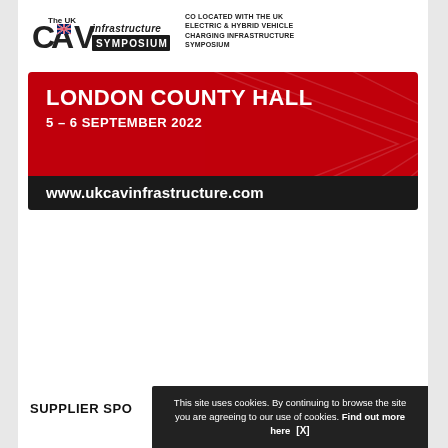[Figure (logo): The UK CAV Infrastructure Symposium logo with Union Jack flag graphic]
CO LOCATED WITH THE UK ELECTRIC & HYBRID VEHICLE CHARGING INFRASTRUCTURE SYMPOSIUM
[Figure (infographic): Red banner with text LONDON COUNTY HALL, 5 – 6 SEPTEMBER 2022, and dark bar with www.ukcavinfrastructure.com]
SUPPLIER SPO
This site uses cookies. By continuing to browse the site you are agreeing to our use of cookies. Find out more here [X]